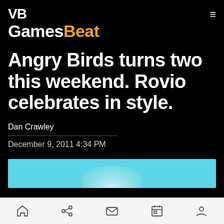VB
GamesBeat
Angry Birds turns two this weekend. Rovio celebrates in style.
Dan Crawley
December 9, 2011 4:34 PM
[Figure (illustration): Partial article image showing light blue background with a white rounded shape at bottom, partially visible]
Navigation bar with home, share, mail, calendar, and profile icons